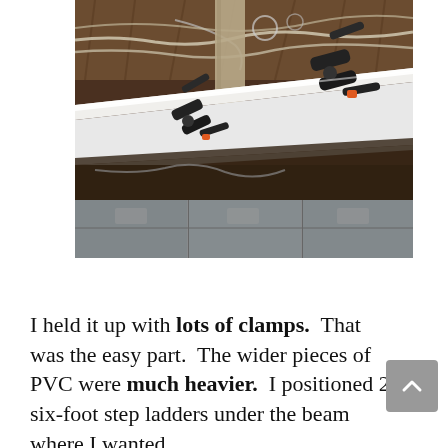[Figure (photo): Photo of a white PVC beam or board clamped against a ceiling/underside of floor joists using multiple black spring clamps. Exposed wiring, subflooring, and what appears to be storage cabinets are visible in the background.]
I held it up with lots of clamps.  That was the easy part.  The wider pieces of PVC were much heavier.  I positioned 2 six-foot step ladders under the beam where I wanted